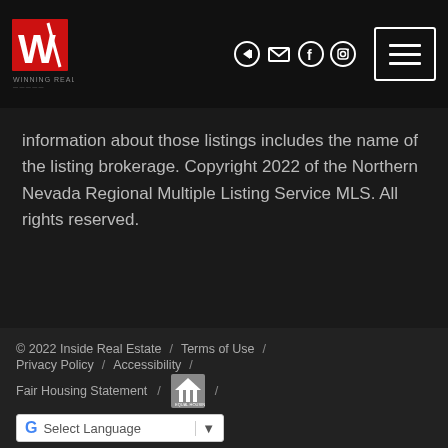[Figure (logo): Winning Realty logo - red square with white W letter, company name below]
information about those listings includes the name of the listing brokerage. Copyright 2022 of the Northern Nevada Regional Multiple Listing Service MLS. All rights reserved.
© 2022 Inside Real Estate / Terms of Use / Privacy Policy / Accessibility / Fair Housing Statement / [Equal Housing logo] / Select Language